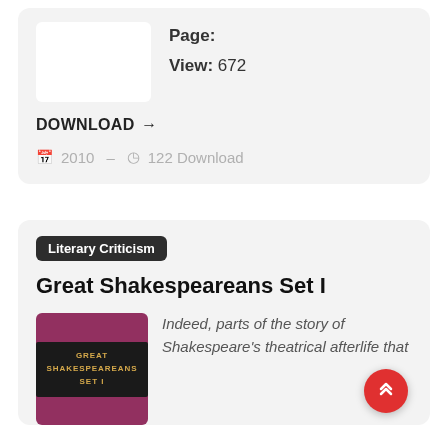Page:
View: 672
DOWNLOAD →
2010  —  122 Download
Literary Criticism
Great Shakespeareans Set I
[Figure (illustration): Book cover for Great Shakespeareans Set I — dark title plate on a maroon/purple background]
Indeed, parts of the story of Shakespeare's theatrical afterlife that